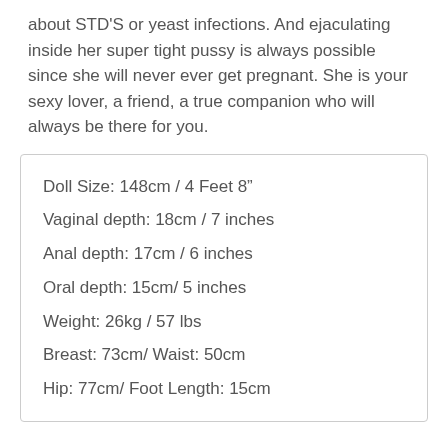about STD'S or yeast infections. And ejaculating inside her super tight pussy is always possible since she will never ever get pregnant. She is your sexy lover, a friend, a true companion who will always be there for you.
Doll Size: 148cm / 4 Feet 8"
Vaginal depth: 18cm / 7 inches
Anal depth: 17cm / 6 inches
Oral depth: 15cm/ 5 inches
Weight: 26kg / 57 lbs
Breast: 73cm/ Waist: 50cm
Hip: 77cm/ Foot Length: 15cm